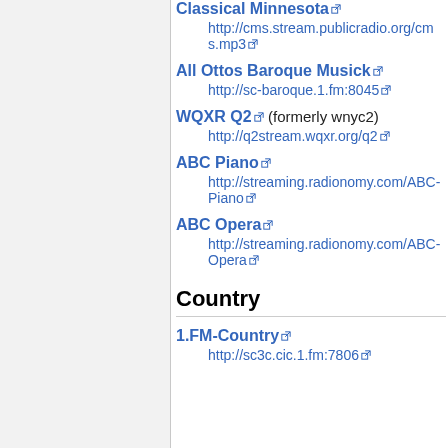Classical Minnesota
http://cms.stream.publicradio.org/cms.mp3
All Ottos Baroque Musick
http://sc-baroque.1.fm:8045
WQXR Q2 (formerly wnyc2)
http://q2stream.wqxr.org/q2
ABC Piano
http://streaming.radionomy.com/ABC-Piano
ABC Opera
http://streaming.radionomy.com/ABC-Opera
Country
1.FM-Country
http://sc3c.cic.1.fm:7806